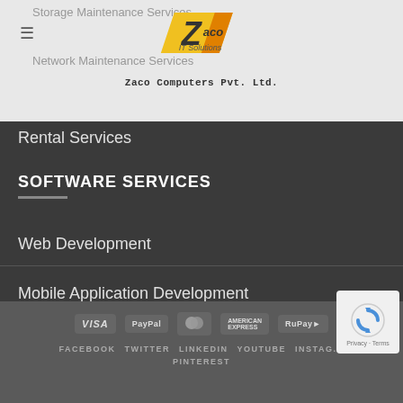Storage Maintenance Services
Network Maintenance Services
Zaco Computers Pvt. Ltd.
[Figure (logo): Zaco IT Solutions logo with yellow/orange chevron and stylized Z]
Rental Services
SOFTWARE SERVICES
Web Development
Mobile Application Development
Ecommerce
SEO
VISA | PayPal | MasterCard | AMERICAN EXPRESS | RuPay
FACEBOOK | TWITTER | LINKEDIN | YOUTUBE | INSTAGRAM | PINTEREST